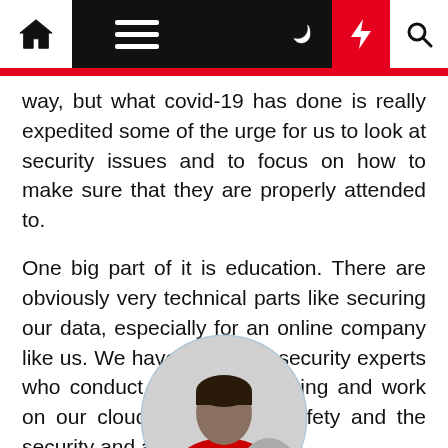[Navigation bar with home, menu, moon, lightning, search icons]
way, but what covid-19 has done is really expedited some of the urge for us to look at security issues and to focus on how to make sure that they are properly attended to.
One big part of it is education. There are obviously very technical parts like securing our data, especially for an online company like us. We have a team of security experts who conduct penetration testing and work on our cloud architecture, safety and the security and all that.
[Figure (photo): Circular avatar photo of a person wearing a red jacket, partially visible at the bottom of the page]